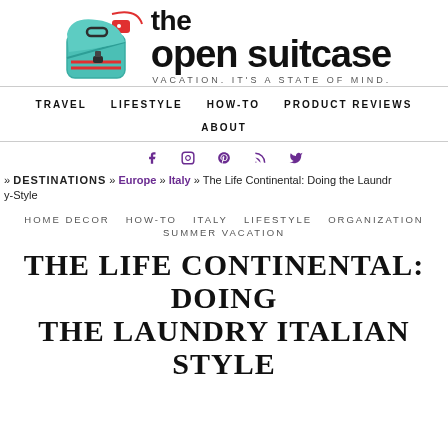[Figure (logo): The Open Suitcase logo with teal open suitcase illustration, red tag, and bold text reading 'the open suitcase' with tagline 'VACATION. IT'S A STATE OF MIND.']
TRAVEL   LIFESTYLE   HOW-TO   PRODUCT REVIEWS   ABOUT
f  Instagram  Pinterest  RSS  Twitter (social icons)
» DESTINATIONS » Europe » Italy » The Life Continental: Doing the Laundry Italian-Style
HOME DECOR   HOW-TO   ITALY   LIFESTYLE   ORGANIZATION   SUMMER VACATION
THE LIFE CONTINENTAL: DOING THE LAUNDRY ITALIAN STYLE